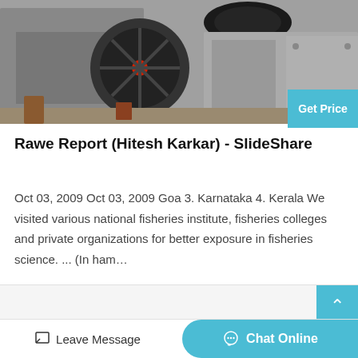[Figure (photo): Industrial machine/crusher with large belt pulleys and metal frame, photographed outdoors on concrete]
Get Price
Rawe Report (Hitesh Karkar) - SlideShare
Oct 03, 2009 Oct 03, 2009 Goa 3. Karnataka 4. Kerala We visited various national fisheries institute, fisheries colleges and private organizations for better exposure in fisheries science. ... (In ham…
Leave Message
Chat Online